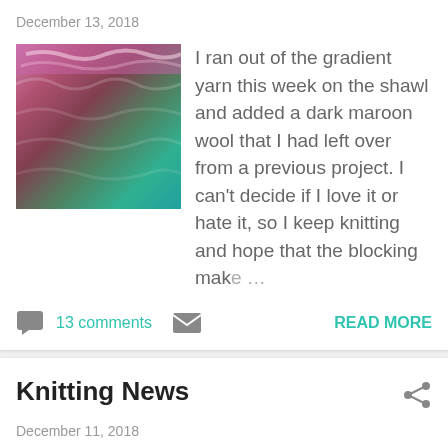December 13, 2018
[Figure (photo): Photo of a knitted shawl with gradient yarn in pink, purple, and teal colors]
I ran out of the gradient yarn this week on the shawl and added a dark maroon wool that I had left over from a previous project. I can't decide if I love it or hate it, so I keep knitting and hope that the blocking make ...
13 comments
READ MORE
Knitting News
December 11, 2018
[Figure (photo): Photo of a person wearing a dark navy blue star shower cowl]
This is the last gift present of the year! I finished the star shower cowl last week or so.  This cowl is oh so soft with the alpaca